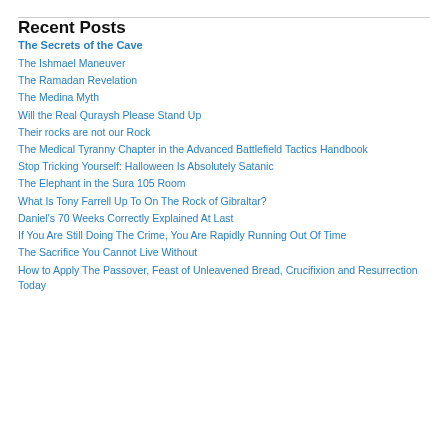Recent Posts
The Secrets of the Cave
The Ishmael Maneuver
The Ramadan Revelation
The Medina Myth
Will the Real Quraysh Please Stand Up
Their rocks are not our Rock
The Medical Tyranny Chapter in the Advanced Battlefield Tactics Handbook
Stop Tricking Yourself: Halloween Is Absolutely Satanic
The Elephant in the Sura 105 Room
What Is Tony Farrell Up To On The Rock of Gibraltar?
Daniel's 70 Weeks Correctly Explained At Last
If You Are Still Doing The Crime, You Are Rapidly Running Out Of Time
The Sacrifice You Cannot Live Without
How to Apply The Passover, Feast of Unleavened Bread, Crucifixion and Resurrection Today